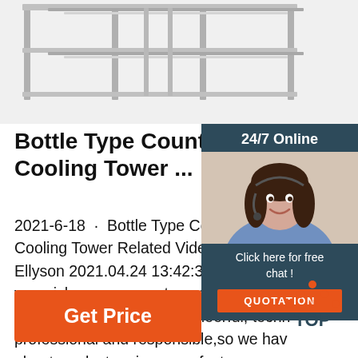[Figure (photo): Partial view of industrial cooling tower equipment, metal frame structure, light gray/silver color]
Bottle Type Counter-Flow Open Cooling Tower ...
2021-6-18 · Bottle Type Counter-Flow Open Cooling Tower Related Videos From You Ellyson 2021.04.24 13:42:35 Company very rich management experience and s... sales staff are warm and cheerful, techn... professional and responsible,so we hav... about product,a nice manufacturer.
[Figure (photo): 24/7 Online customer service agent panel with woman wearing headset, Click here for free chat! and QUOTATION button]
[Figure (other): TOP scroll-to-top icon with orange dots triangle and TOP text]